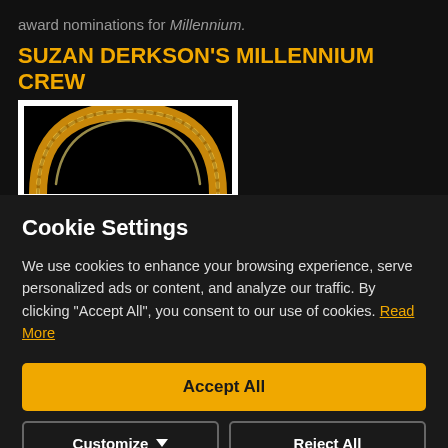award nominations for Millennium.
SUZAN DERKSON'S MILLENNIUM CREW PROFILE
[Figure (photo): A gold bracelet or ring photographed against a black background, showing a curved arc of metallic gold links with detailed texture.]
Cookie Settings
We use cookies to enhance your browsing experience, serve personalized ads or content, and analyze our traffic. By clicking "Accept All", you consent to our use of cookies. Read More
Accept All
Customize
Reject All